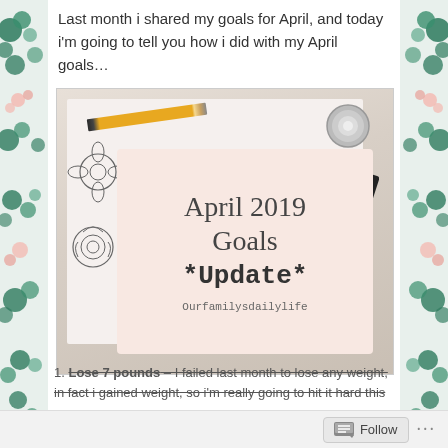Last month i shared my goals for April, and today i'm going to tell you how i did with my April goals…
[Figure (photo): A flat lay photo of stationery items on a desk: a yellow pencil, a roll of washi tape, a black binder clip, and floral sketch drawings on paper, with a pink card in the center reading 'April 2019 Goals *Update* Ourfamilysdailylife']
Lose 7 pounds – I failed last month to lose any weight, in fact i gained weight, so i'm really going to hit it hard this